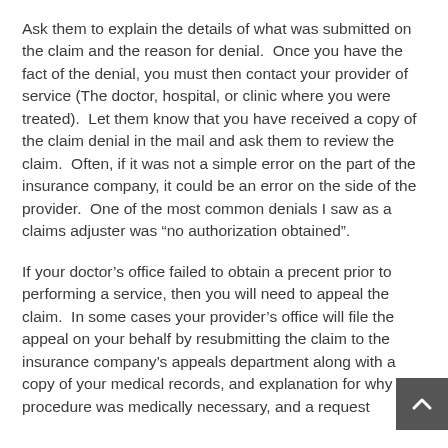Ask them to explain the details of what was submitted on the claim and the reason for denial.  Once you have the fact of the denial, you must then contact your provider of service (The doctor, hospital, or clinic where you were treated).  Let them know that you have received a copy of the claim denial in the mail and ask them to review the claim.  Often, if it was not a simple error on the part of the insurance company, it could be an error on the side of the provider.  One of the most common denials I saw as a claims adjuster was “no authorization obtained”.
If your doctor’s office failed to obtain a precent prior to performing a service, then you will need to appeal the claim.  In some cases your provider’s office will file the appeal on your behalf by resubmitting the claim to the insurance company’s appeals department along with a copy of your medical records, and explanation for why the procedure was medically necessary, and a request